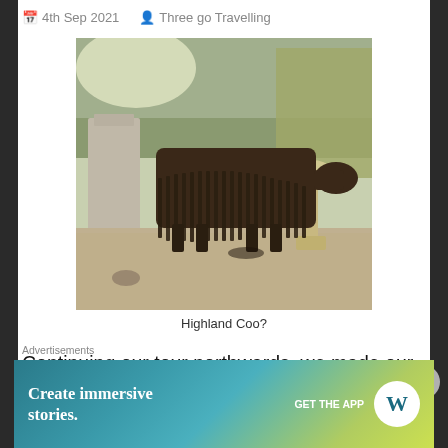4th Sep 2021   Three go Travelling
[Figure (photo): A sculptural artwork resembling a Highland cow (Coo) made of hanging chains or metal links, set in a gravel garden with stone pillars and ornamental birdbath, with grass and shrubs in the background.]
Highland Coo?
Continuing our tour northwards, we made our way along the Aberdeenshire and Moray
Advertisements
[Figure (other): WordPress advertisement banner reading 'Create immersive stories.' with 'GET THE APP' call to action and WordPress logo.]